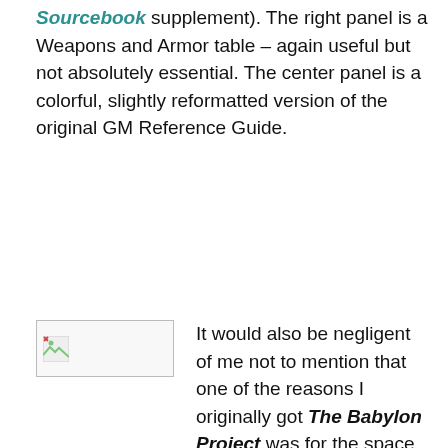Sourcebook supplement). The right panel is a Weapons and Armor table – again useful but not absolutely essential. The center panel is a colorful, slightly reformatted version of the original GM Reference Guide.
[Figure (photo): Small image placeholder showing a broken/loading image icon, with caption 'Courtesy RPG Geek' below it]
Courtesy RPG Geek
It would also be negligent of me not to mention that one of the reasons I originally got The Babylon Project was for the space combat system. Introduced in Earthforce Sourcebook, the space combat system was developed by Jon Tuffley and based on his successful Full Thrust miniatures system. This approach to incorporating popular, known, miniatures